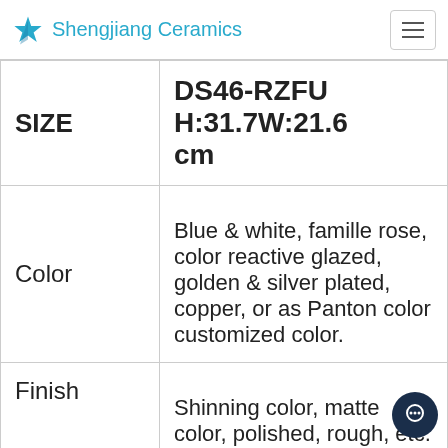Shengjiang Ceramics
| SIZE | DS46-RZFU H:31.7W:21.6 cm |
| Color | Blue & white, famille rose, color reactive glazed, golden & silver plated, copper, or as Panton color customized color. |
| Finish | Shinning color, matte color, polished, rough, etc. |